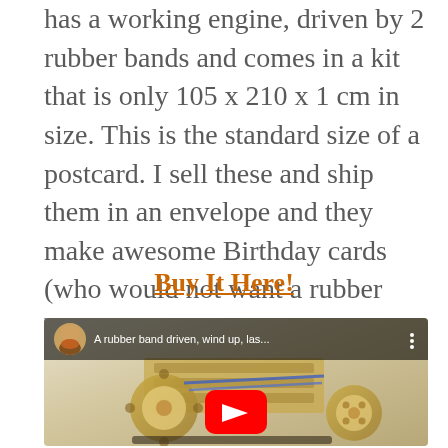has a working engine, driven by 2 rubber bands and comes in a kit that is only 105 x 210 x 1 cm in size. This is the standard size of a postcard. I sell these and ship them in an envelope and they make awesome Birthday cards (who would not want a rubber band driven, wind up, laser cut plywood car kit  as a gift). If you are interested in one get it here:
Buy It Here!
[Figure (screenshot): YouTube video thumbnail showing a laser-cut plywood rubber band driven wind-up car kit. The video has a dark top bar with a circular channel icon showing a portrait of a historical figure, the video title 'A rubber band driven, wind up, las...' and a vertical dots menu icon. The thumbnail shows a wooden mechanical car model with gears and tracks. A red YouTube play button is centered on the thumbnail.]